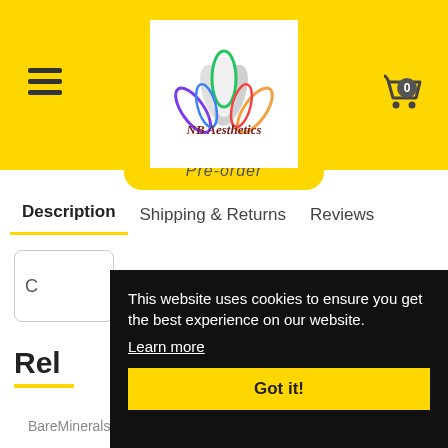[Figure (logo): NB Aesthetics logo with colorful lotus flower and stylized text 'NB Aesthetics' in dark red script]
Pre-order
Description   Shipping & Returns   Reviews
C
Rel
This website uses cookies to ensure you get the best experience on our website.
Learn more
Got it!
BareMinerals